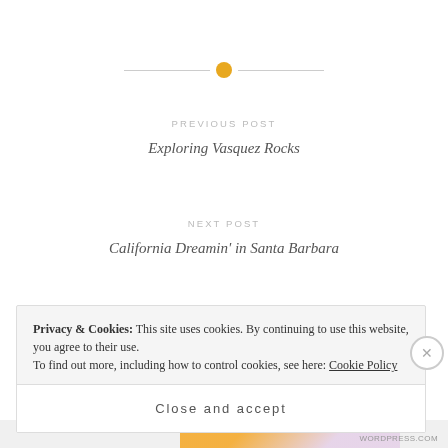[Figure (other): Horizontal divider with orange circle dot in the center, flanked by thin grey lines]
PREVIOUS POST
Exploring Vasquez Rocks
NEXT POST
California Dreamin' in Santa Barbara
Privacy & Cookies: This site uses cookies. By continuing to use this website, you agree to their use.
To find out more, including how to control cookies, see here: Cookie Policy
Close and accept